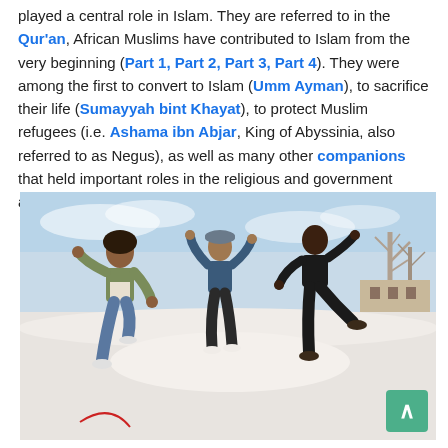played a central role in Islam. They are referred to in the Qur'an, African Muslims have contributed to Islam from the very beginning (Part 1, Part 2, Part 3, Part 4). They were among the first to convert to Islam (Umm Ayman), to sacrifice their life (Sumayyah bint Khayat), to protect Muslim refugees (i.e. Ashama ibn Abjar, King of Abyssinia, also referred to as Negus), as well as many other companions that held important roles in the religious and government affairs.
[Figure (photo): Three young people jumping joyfully outdoors in a snowy setting, with bare trees and a building in the background. They are wearing casual winter clothing.]